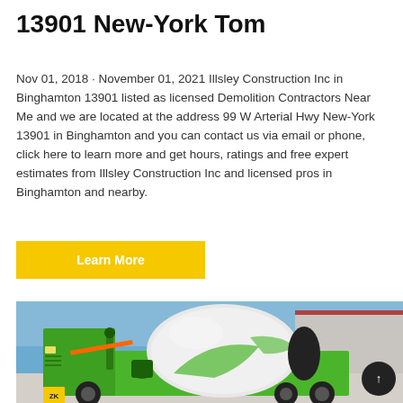13901 New-York Tom
Nov 01, 2018 · November 01, 2021 Illsley Construction Inc in Binghamton 13901 listed as licensed Demolition Contractors Near Me and we are located at the address 99 W Arterial Hwy New-York 13901 in Binghamton and you can contact us via email or phone, click here to learn more and get hours, ratings and free expert estimates from Illsley Construction Inc and licensed pros in Binghamton and nearby.
Learn More
[Figure (photo): A green self-loading concrete mixer truck with a white revolving drum, parked at a construction site with a blue sky background and a building visible in the distance.]